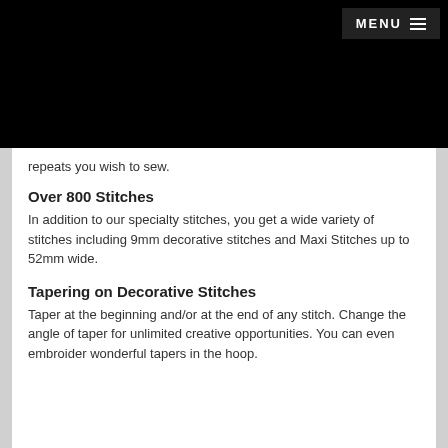[Figure (other): Black header banner at the top of the page with a MENU button in the upper right corner]
MENU ☰
repeats you wish to sew.
Over 800 Stitches
In addition to our specialty stitches, you get a wide variety of stitches including 9mm decorative stitches and Maxi Stitches up to 52mm wide.
Tapering on Decorative Stitches
Taper at the beginning and/or at the end of any stitch. Change the angle of taper for unlimited creative opportunities. You can even embroider wonderful tapers in the hoop.